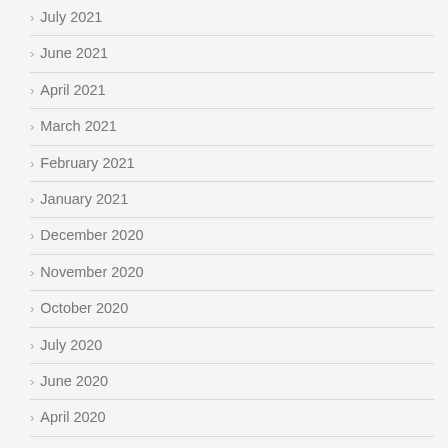July 2021
June 2021
April 2021
March 2021
February 2021
January 2021
December 2020
November 2020
October 2020
July 2020
June 2020
April 2020
February 2020